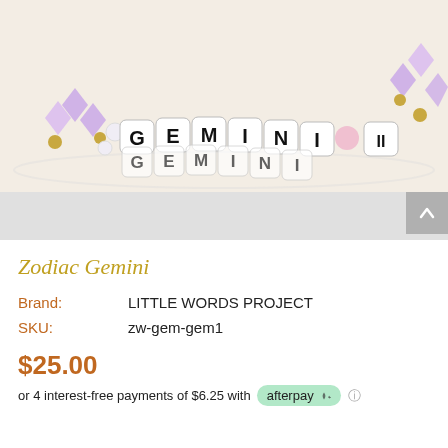[Figure (photo): Close-up photo of a beaded bracelet spelling GEMINI with letter beads, purple crystal beads, gold beads, and a pink heart bead on a light beige background.]
Zodiac Gemini
Brand: LITTLE WORDS PROJECT
SKU: zw-gem-gem1
$25.00
or 4 interest-free payments of $6.25 with afterpay